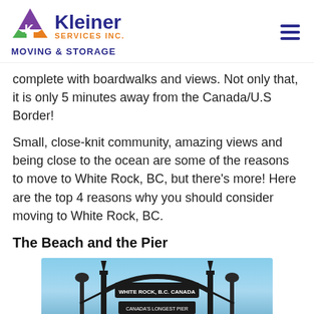Kleiner Services Inc. Moving & Storage
complete with boardwalks and views. Not only that, it is only 5 minutes away from the Canada/U.S Border!
Small, close-knit community, amazing views and being close to the ocean are some of the reasons to move to White Rock, BC, but there’s more! Here are the top 4 reasons why you should consider moving to White Rock, BC.
The Beach and the Pier
[Figure (photo): Photo of the White Rock, B.C. Canada entrance gate arch against a blue sky, a decorative iron archway with the city name on it.]